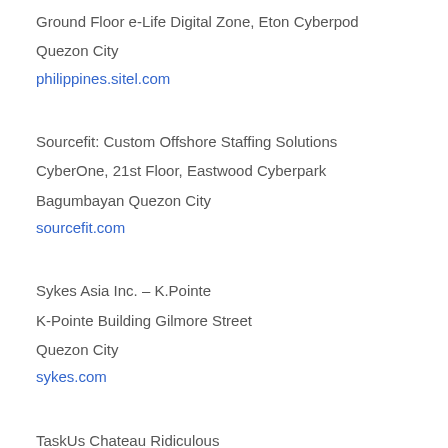Ground Floor e-Life Digital Zone, Eton Cyberpod
Quezon City
philippines.sitel.com
Sourcefit: Custom Offshore Staffing Solutions
CyberOne, 21st Floor, Eastwood Cyberpark
Bagumbayan Quezon City
sourcefit.com
Sykes Asia Inc. – K.Pointe
K-Pointe Building Gilmore Street
Quezon City
sykes.com
TaskUs Chateau Ridiculous